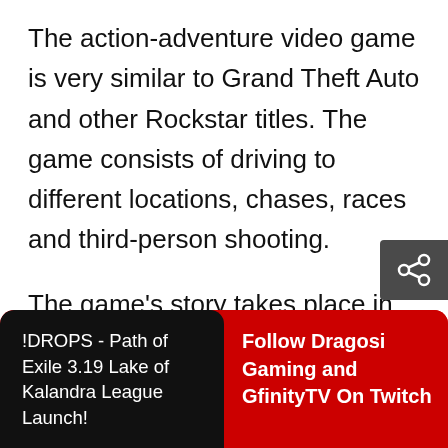The action-adventure video game is very similar to Grand Theft Auto and other Rockstar titles. The game consists of driving to different locations, chases, races and third-person shooting.
The game’s story takes place in the fictional American city of Lost Heaven. In the three games, you take on the role of a new person set in different time periods.
!DROPS - Path of Exile 3.19 Lake of Kalandra League Launch!
Follow Dragosi Gaming and GfinityTV On Twitch